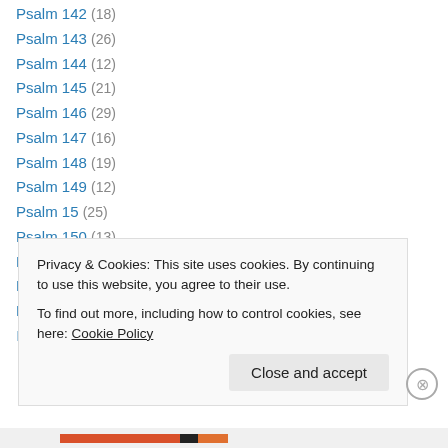Psalm 142 (18)
Psalm 143 (26)
Psalm 144 (12)
Psalm 145 (21)
Psalm 146 (29)
Psalm 147 (16)
Psalm 148 (19)
Psalm 149 (12)
Psalm 15 (25)
Psalm 150 (13)
Psalm 151 (6)
Psalm 16 (22)
Psalm 17 (19)
Psalm 18 (31)
Privacy & Cookies: This site uses cookies. By continuing to use this website, you agree to their use. To find out more, including how to control cookies, see here: Cookie Policy
Close and accept